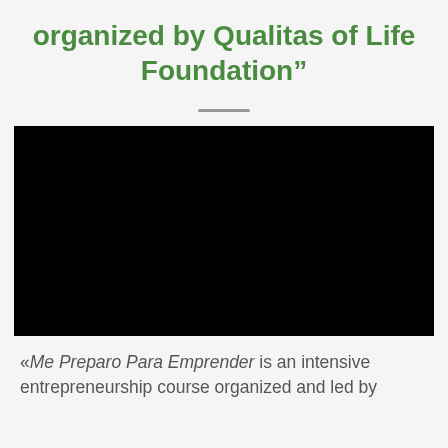organized by Qualitas of Life Foundation"
[Figure (photo): Black rectangle representing an embedded video player]
«Me Preparo Para Emprender is an intensive entrepreneurship course organized and led by